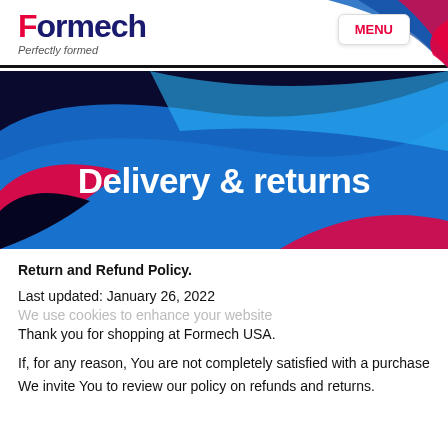Formech — Perfectly formed | MENU
[Figure (illustration): Formech website hero banner with blue, navy, and pink/magenta wave shapes and white bold text reading 'Delivery & returns']
Delivery & returns
Return and Refund Policy.
Last updated: January 26, 2022
We use cookies to enhance your website
Thank you for shopping at Formech USA.
If, for any reason, You are not completely satisfied with a purchase We invite You to review our policy on refunds and returns.